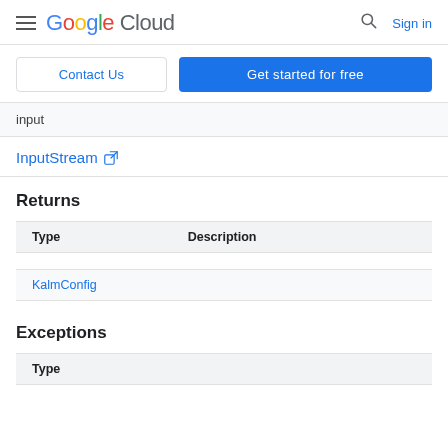Google Cloud | Contact Us | Get started for free | Sign in
input
InputStream [external link]
Returns
| Type | Description |
| --- | --- |
| KalmConfig |  |
Exceptions
| Type |
| --- |